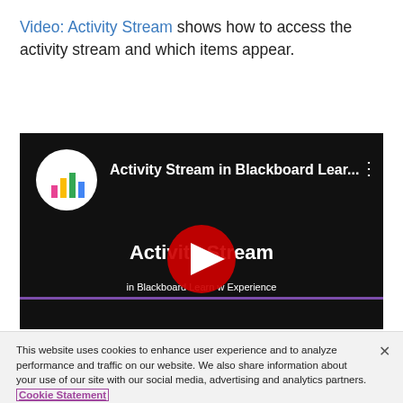Video: Activity Stream shows how to access the activity stream and which items appear.
[Figure (screenshot): Embedded YouTube video thumbnail showing 'Activity Stream in Blackboard Lear...' with a red play button overlay and text 'Activity Stream in Blackboard Learn with Ultra Experience']
This website uses cookies to enhance user experience and to analyze performance and traffic on our website. We also share information about your use of our site with our social media, advertising and analytics partners. Cookie Statement
Do Not Sell My Personal Information
Accept Cookies